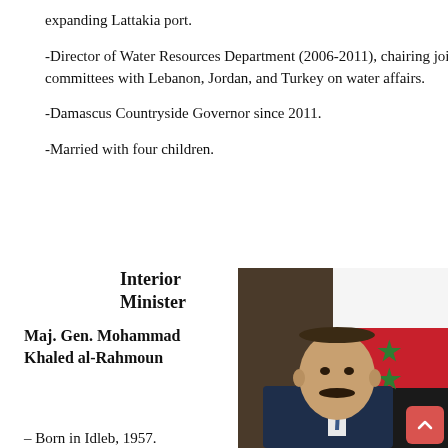expanding Lattakia port.
-Director of Water Resources Department (2006-2011), chairing joint committees with Lebanon, Jordan, and Turkey on water affairs.
-Damascus Countryside Governor since 2011.
-Married with four children.
Interior Minister
Maj. Gen. Mohammad Khaled al-Rahmoun
[Figure (photo): Portrait photo of Maj. Gen. Mohammad Khaled al-Rahmoun in a suit and tie, with the Syrian flag visible in the background.]
– Born in Idleb, 1957.